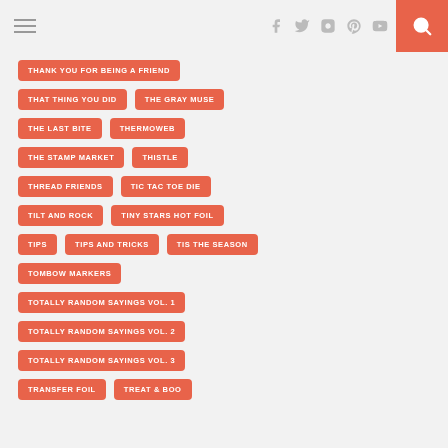Navigation header with hamburger menu, social icons (Facebook, Twitter, Instagram, Pinterest, YouTube), and search button
THANK YOU FOR BEING A FRIEND
THAT THING YOU DID
THE GRAY MUSE
THE LAST BITE
THERMOWEB
THE STAMP MARKET
THISTLE
THREAD FRIENDS
TIC TAC TOE DIE
TILT AND ROCK
TINY STARS HOT FOIL
TIPS
TIPS AND TRICKS
TIS THE SEASON
TOMBOW MARKERS
TOTALLY RANDOM SAYINGS VOL. 1
TOTALLY RANDOM SAYINGS VOL. 2
TOTALLY RANDOM SAYINGS VOL. 3
TRANSFER FOIL
TREAT & BOO